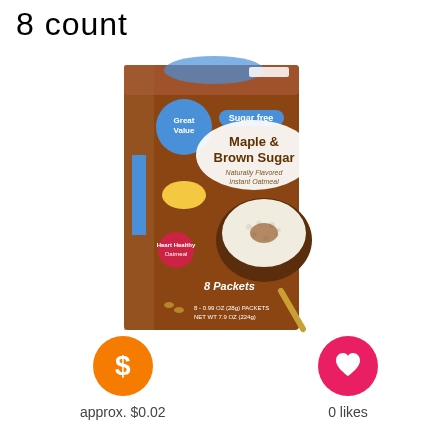8 count
[Figure (photo): Box of Great Value Sugar Free Maple & Brown Sugar Naturally Flavored Instant Oatmeal, 8 Packets, 8-0.99 oz (28g) packets, NET WT 7.9 oz (224g)]
approx. $0.02
0 likes